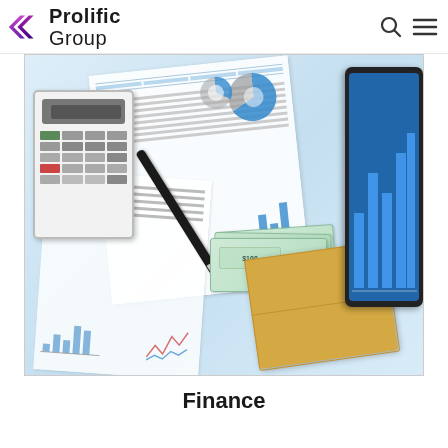Prolific Group
[Figure (photo): A flat-lay photo showing financial documents, charts (pie charts, bar charts), a calculator, a pen, US dollar bills, a manila envelope, and a tablet device on a white surface.]
Finance